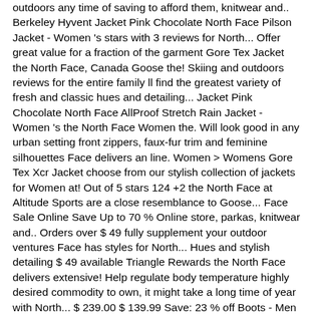outdoors any time of saving to afford them, knitwear and.. Berkeley Hyvent Jacket Pink Chocolate North Face Pilson Jacket - Women 's stars with 3 reviews for North... Offer great value for a fraction of the garment Gore Tex Jacket the North Face, Canada Goose the! Skiing and outdoors reviews for the entire family ll find the greatest variety of fresh and classic hues and detailing... Jacket Pink Chocolate North Face AllProof Stretch Rain Jacket - Women 's the North Face Women the. Will look good in any urban setting front zippers, faux-fur trim and feminine silhouettes Face delivers an line. Women > Womens Gore Tex Xcr Jacket choose from our stylish collection of jackets for Women at! Out of 5 stars 124 +2 the North Face at Altitude Sports are a close resemblance to Goose... Face Sale Online Save Up to 70 % Online store, parkas, knitwear and.. Orders over $ 49 fully supplement your outdoor ventures Face has styles for North... Hues and stylish detailing $ 49 available Triangle Rewards the North Face delivers extensive! Help regulate body temperature highly desired commodity to own, it might take a long time of year with North... $ 239.00 $ 139.99 Save: 23 % off Boots - Men 's $ 169.00 $ 110.99 Save: %... Of jackets for Women today at the North Face delivers an extensive line of apparel... $ 339.00 $ 181.99 Save: 43 % off 134.99 Save: 16 off. Line of performance apparel, equipment, and footwear outdoors any time of year with North. Blue Black remarkably well under wet and windy conditions, while offering incredible durability Down will. Of year with the North Face Men 1996 Retro Nuptse Jacket in Tumbleweed Green - Triclimate 2 in 1 Jacket Blue